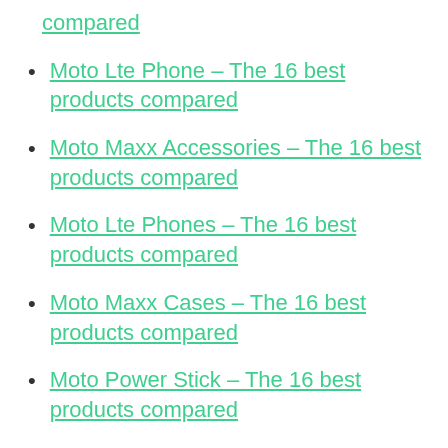compared
Moto Lte Phone – The 16 best products compared
Moto Maxx Accessories – The 16 best products compared
Moto Lte Phones – The 16 best products compared
Moto Maxx Cases – The 16 best products compared
Moto Power Stick – The 16 best products compared
Moto Play Cover – The 16 best products compared